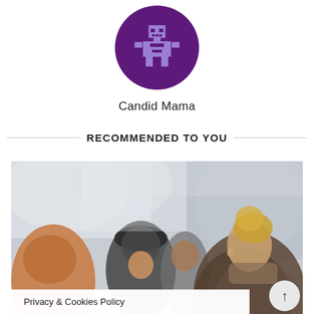[Figure (logo): Purple circle with pixelated robot icon (light purple/periwinkle pixel robot on dark purple background)]
Candid Mama
RECOMMENDED TO YOU
[Figure (photo): Photo of a group of young women socializing outdoors, laughing and talking, wearing winter clothes, blurred background with white fabric]
Privacy & Cookies Policy